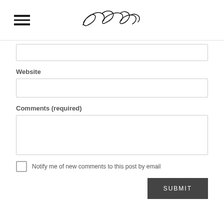Dee Shenberg (logo/signature)
Website
Comments (required)
Notify me of new comments to this post by email
SUBMIT